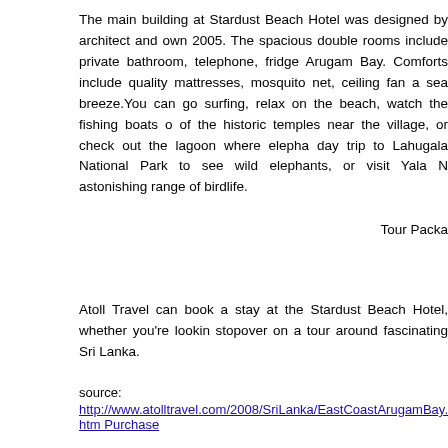The main building at Stardust Beach Hotel was designed by architect and own 2005. The spacious double rooms include private bathroom, telephone, fridge Arugam Bay. Comforts include quality mattresses, mosquito net, ceiling fan a sea breeze.You can go surfing, relax on the beach, watch the fishing boats o of the historic temples near the village, or check out the lagoon where elepha day trip to Lahugala National Park to see wild elephants, or visit Yala N astonishing range of birdlife.
Tour Packa
Atoll Travel can book a stay at the Stardust Beach Hotel, whether you're lookin stopover on a tour around fascinating Sri Lanka.
source:
http://www.atolltravel.com/2008/SriLanka/EastCoastArugamBay.htm Purchase